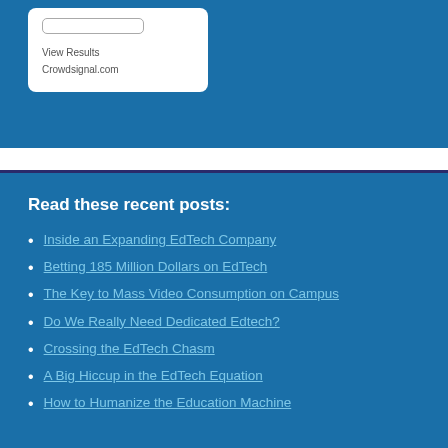[Figure (screenshot): Widget box on blue background with a button outline, 'View Results' link, and 'Crowdsignal.com' text]
Read these recent posts:
Inside an Expanding EdTech Company
Betting 185 Million Dollars on EdTech
The Key to Mass Video Consumption on Campus
Do We Really Need Dedicated Edtech?
Crossing the EdTech Chasm
A Big Hiccup in the EdTech Equation
How to Humanize the Education Machine